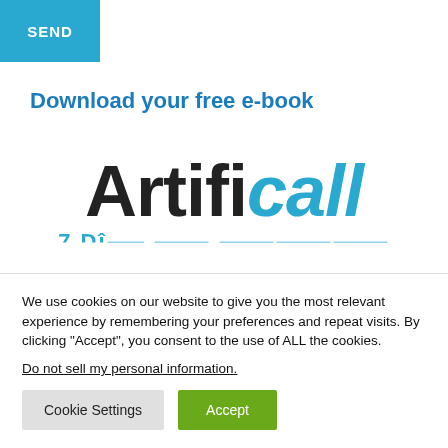[Figure (logo): Cyan/blue rectangular SEND button in top left corner]
Download your free e-book
[Figure (logo): Artificall logo — 'Artifi' in dark/black bold font and 'call' in cyan italic bold font, large display size. Partially visible subtitle text in cyan below.]
We use cookies on our website to give you the most relevant experience by remembering your preferences and repeat visits. By clicking “Accept”, you consent to the use of ALL the cookies.
Do not sell my personal information.
Cookie Settings  Accept